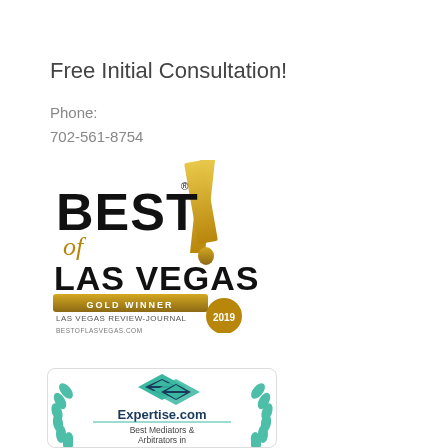Free Initial Consultation!
Phone:
702-561-8754
[Figure (logo): Best of Las Vegas Gold Winner 2019 - Las Vegas Review-Journal badge with gold exclamation mark accent]
[Figure (logo): Expertise.com badge with teal diamond logo and laurel wreath, text: Best Mediators & Arbitrators in [city]]